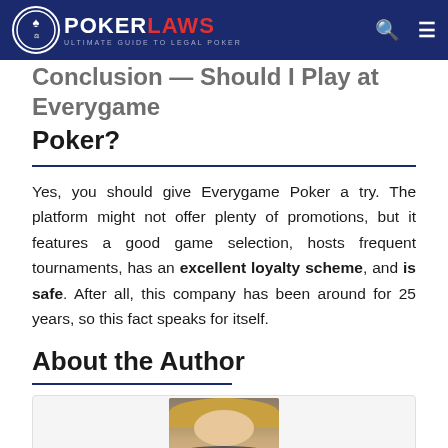POKERLAWS - Ultimate Guide To Legal Poker
Conclusion — Should I Play at Everygame Poker?
Yes, you should give Everygame Poker a try. The platform might not offer plenty of promotions, but it features a good game selection, hosts frequent tournaments, has an excellent loyalty scheme, and is safe. After all, this company has been around for 25 years, so this fact speaks for itself.
About the Author
[Figure (photo): Author headshot photo of a woman with blonde hair]